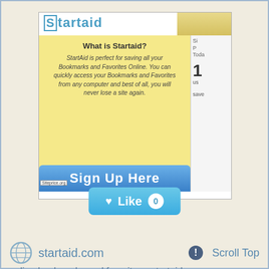[Figure (screenshot): Screenshot of Startaid.com website showing the logo, a 'What is Startaid?' info box with description text, a 'Sign Up Here' button, and a right panel with stats. Below the screenshot is a teal 'Like 0' button.]
startaid.com
Scroll Top
online bookmarks and favorites - startaid save your bookmarks and favorites online. social bookmark manager that allows you can use tags or categories. never lose a bookmark or favorite again.